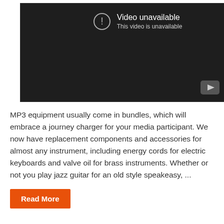[Figure (screenshot): YouTube video player showing 'Video unavailable' message with exclamation icon and YouTube logo button in bottom right, on dark background]
MP3 equipment usually come in bundles, which will embrace a journey charger for your media participant. We now have replacement components and accessories for almost any instrument, including energy cords for electric keyboards and valve oil for brass instruments. Whether or not you play jazz guitar for an old style speakeasy, ...
Read More